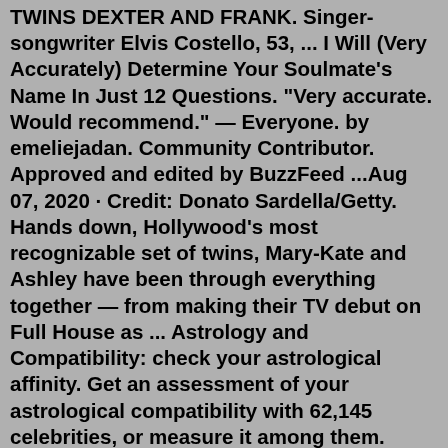TWINS DEXTER AND FRANK. Singer-songwriter Elvis Costello, 53, ... I Will (Very Accurately) Determine Your Soulmate's Name In Just 12 Questions. "Very accurate. Would recommend." — Everyone. by emeliejadan. Community Contributor. Approved and edited by BuzzFeed ...Aug 07, 2020 · Credit: Donato Sardella/Getty. Hands down, Hollywood's most recognizable set of twins, Mary-Kate and Ashley have been through everything together — from making their TV debut on Full House as ... Astrology and Compatibility: check your astrological affinity. Get an assessment of your astrological compatibility with 62,145 celebrities, or measure it among them. Click on Your Profile, Star1 or Star2, lateral thumbnails or the random generator to select a celebrity. This app uses our compatibility programs with all birth data including ... 21 Savage net worth: 21 Savage is an American hip hop recording artist who has a net worth of $12 million. He is a popular rap star who at times has been one of the 20 highest-paid rappers in the ...Jul 07, 2022 ·